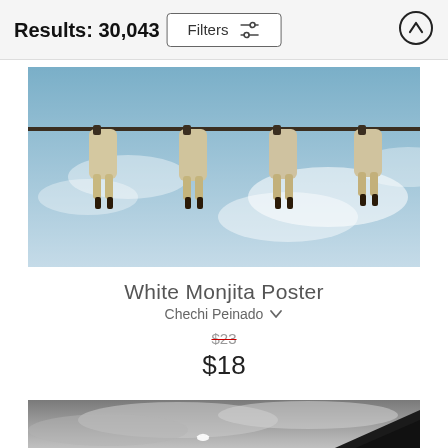Results: 30,043
Filters
[Figure (photo): Four white birds (White Monjita) hanging upside down from a wire against a blue sky with clouds]
White Monjita Poster
Chechi Peinado
$23 (strikethrough original price), $18 (sale price)
[Figure (photo): Black and white photo of a bird flying against a dramatic cloudy sky with a dark mountain silhouette]